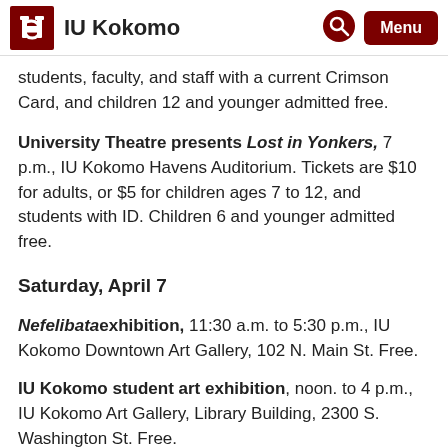IU Kokomo
students, faculty, and staff with a current Crimson Card, and children 12 and younger admitted free.
University Theatre presents Lost in Yonkers, 7 p.m., IU Kokomo Havens Auditorium. Tickets are $10 for adults, or $5 for children ages 7 to 12, and students with ID. Children 6 and younger admitted free.
Saturday, April 7
Nefelibata exhibition, 11:30 a.m. to 5:30 p.m., IU Kokomo Downtown Art Gallery, 102 N. Main St. Free.
IU Kokomo student art exhibition, noon. to 4 p.m., IU Kokomo Art Gallery, Library Building, 2300 S. Washington St. Free.